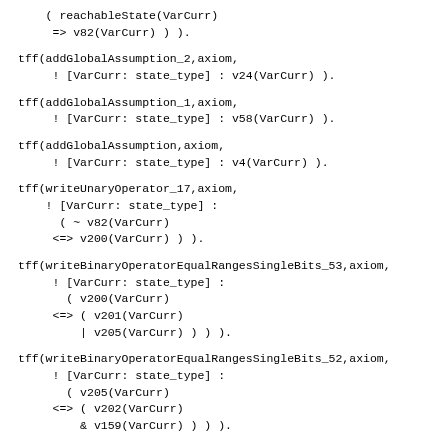( reachableState(VarCurr)
     => v82(VarCurr) ) ).
tff(addGlobalAssumption_2,axiom,
     ! [VarCurr: state_type] : v24(VarCurr) ).
tff(addGlobalAssumption_1,axiom,
     ! [VarCurr: state_type] : v58(VarCurr) ).
tff(addGlobalAssumption,axiom,
     ! [VarCurr: state_type] : v4(VarCurr) ).
tff(writeUnaryOperator_17,axiom,
    ! [VarCurr: state_type] :
      ( ~ v82(VarCurr)
     <=> v200(VarCurr) ) ).
tff(writeBinaryOperatorEqualRangesSingleBits_53,axiom,
     ! [VarCurr: state_type] :
       ( v200(VarCurr)
     <=> ( v201(VarCurr)
         | v205(VarCurr) ) ) ).
tff(writeBinaryOperatorEqualRangesSingleBits_52,axiom,
     ! [VarCurr: state_type] :
       ( v205(VarCurr)
     <=> ( v202(VarCurr)
         & v159(VarCurr) ) ) ).
tff(writeBinaryOperatorEqualRangesSingleBits_51,axiom,
     ! [VarCurr: state_type] :